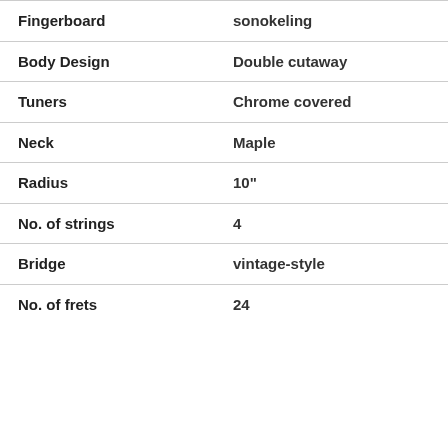| Attribute | Value |
| --- | --- |
| Fingerboard | sonokeling |
| Body Design | Double cutaway |
| Tuners | Chrome covered |
| Neck | Maple |
| Radius | 10" |
| No. of strings | 4 |
| Bridge | vintage-style |
| No. of frets | 24 |